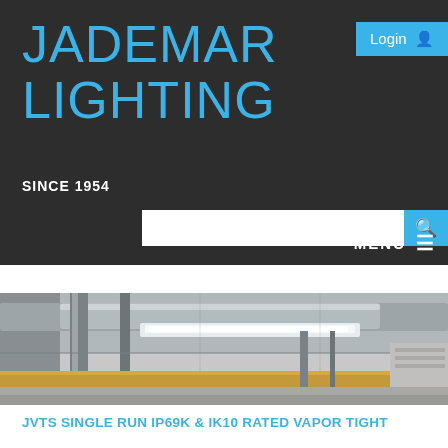JADEMAR LIGHTING
SINCE 1954
Login
[Figure (screenshot): Search input bar with blue search button]
MENU
[Figure (photo): Interior industrial/warehouse ceiling with fluorescent vapor-tight strip lighting fixtures mounted to ceiling along with pipes and conduits]
JVTS SINGLE RUN IP69K & IK10 RATED VAPOR TIGHT